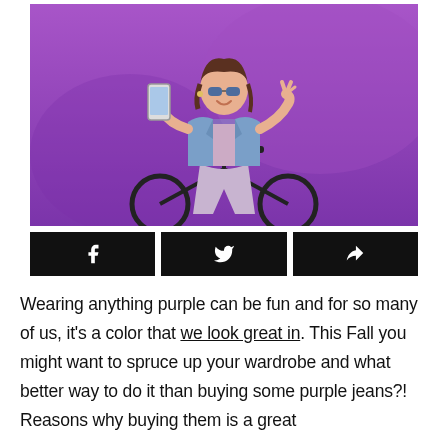[Figure (photo): Young woman in blue denim jacket, pink shirt, and lavender pants sitting on a bicycle against a purple background, holding a phone and making a peace sign with her hand, wearing blue sunglasses.]
[Figure (infographic): Three black social media sharing buttons in a row: Facebook icon, Twitter bird icon, and a share/forward arrow icon.]
Wearing anything purple can be fun and for so many of us, it's a color that we look great in. This Fall you might want to spruce up your wardrobe and what better way to do it than buying some purple jeans?! Reasons why buying them is a great